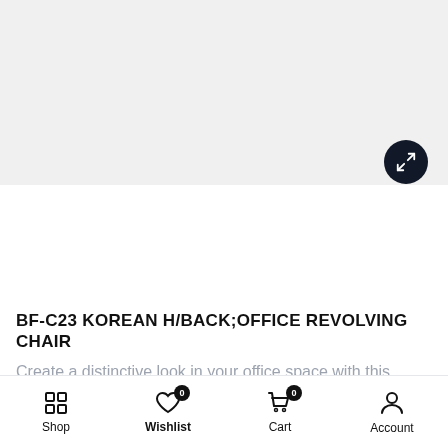[Figure (photo): Light gray product image area with a dark circular expand/fullscreen button in the lower right corner]
BF-C23 KOREAN H/BACK;OFFICE REVOLVING CHAIR
Create a distinctive look in your office space with this elegant office chair. This chair with arm rests offer a stylish
Shop | Wishlist 0 | Cart 0 | Account